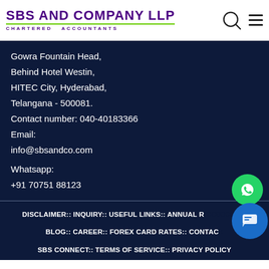SBS AND COMPANY LLP CHARTERED ACCOUNTANTS
Gowra Fountain Head,
Behind Hotel Westin,
HITEC City, Hyderabad,
Telangana - 500081.
Contact number: 040-40183366
Email:
info@sbsandco.com
Whatsapp:
+91 70751 88123
DISCLAIMER:: INQUIRY:: USEFUL LINKS:: ANNUAL R...:: BLOG:: CAREER:: FOREX CARD RATES:: CONTACT... SBS CONNECT:: TERMS OF SERVICE:: PRIVACY POLICY